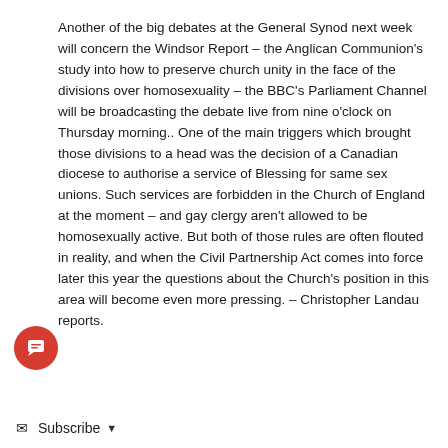Another of the big debates at the General Synod next week will concern the Windsor Report – the Anglican Communion's study into how to preserve church unity in the face of the divisions over homosexuality – the BBC's Parliament Channel will be broadcasting the debate live from nine o'clock on Thursday morning.. One of the main triggers which brought those divisions to a head was the decision of a Canadian diocese to authorise a service of Blessing for same sex unions. Such services are forbidden in the Church of England at the moment – and gay clergy aren't allowed to be homosexually active. But both of those rules are often flouted in reality, and when the Civil Partnership Act comes into force later this year the questions about the Church's position in this area will become even more pressing. – Christopher Landau reports.
Subscribe